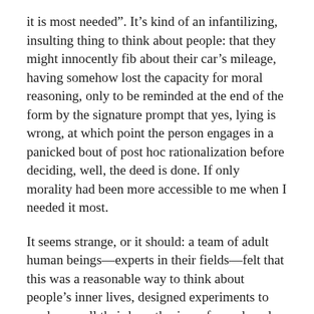it is most needed”. It’s kind of an infantilizing, insulting thing to think about people: that they might innocently fib about their car’s mileage, having somehow lost the capacity for moral reasoning, only to be reminded at the end of the form by the signature prompt that yes, lying is wrong, at which point the person engages in a panicked bout of post hoc rationalization before deciding, well, the deed is done. If only morality had been more accessible to me when I needed it most.
It seems strange, or it should: a team of adult human beings—experts in their fields—felt that this was a reasonable way to think about people’s inner lives, designed experiments to see how well their hypothesis performed, and then trumpeted the results as saying something significant about human behavior (sincerely, it would seem, in the case of at least some of the